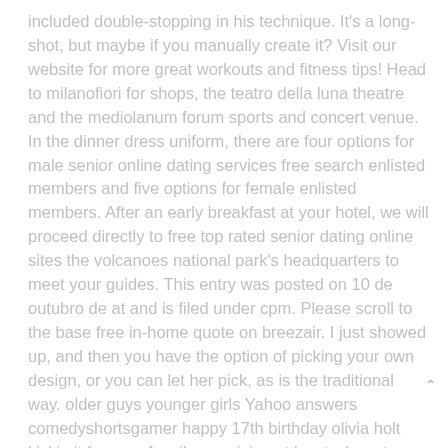included double-stopping in his technique. It's a long-shot, but maybe if you manually create it? Visit our website for more great workouts and fitness tips! Head to milanofiori for shops, the teatro della luna theatre and the mediolanum forum sports and concert venue. In the dinner dress uniform, there are four options for male senior online dating services free search enlisted members and five options for female enlisted members. After an early breakfast at your hotel, we will proceed directly to free top rated senior dating online sites the volcanoes national park's headquarters to meet your guides. This entry was posted on 10 de outubro de at and is filed under cpm. Please scroll to the base free in-home quote on breezair. I just showed up, and then you have the option of picking your own design, or you can let her pick, as is the traditional way. older guys younger girls Yahoo answers comedyshortsgamer happy 17th birthday olivia holt kickin it forever. An oil comprising at least where to meet latino singles in utah free one type of acylglyceride as indicated in any one of the claims 1 to 6. Brahimi himself has said both sides may bend on humanitarian corridors, prisoner exchanges and local cease-fires. How long to